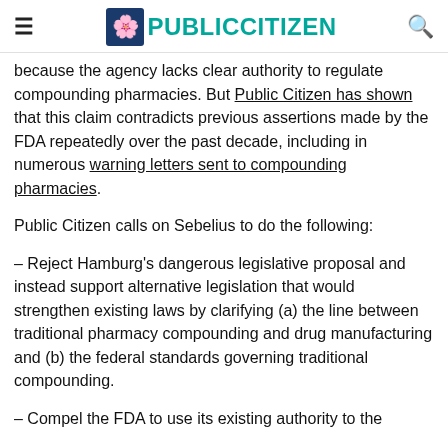Public Citizen
because the agency lacks clear authority to regulate compounding pharmacies. But Public Citizen has shown that this claim contradicts previous assertions made by the FDA repeatedly over the past decade, including in numerous warning letters sent to compounding pharmacies.
Public Citizen calls on Sebelius to do the following:
– Reject Hamburg's dangerous legislative proposal and instead support alternative legislation that would strengthen existing laws by clarifying (a) the line between traditional pharmacy compounding and drug manufacturing and (b) the federal standards governing traditional compounding.
– Compel the FDA to use its existing authority to the